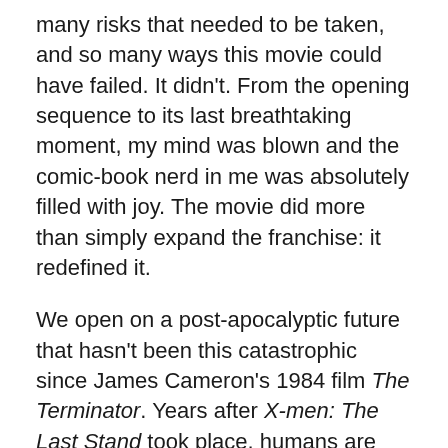many risks that needed to be taken, and so many ways this movie could have failed. It didn't. From the opening sequence to its last breathtaking moment, my mind was blown and the comic-book nerd in me was absolutely filled with joy. The movie did more than simply expand the franchise: it redefined it.
We open on a post-apocalyptic future that hasn't been this catastrophic since James Cameron's 1984 film The Terminator. Years after X-men: The Last Stand took place, humans are now being hunted by the same weapons they created in the first place: the Sentinels, a coalition of dangerously armed robots who can track and exterminate any mutant they can find on planet earth. Amongst the ruins of battered buildings and fallen icons, the human race has now been collected into a sort of concentration camps; all that's left for the mutants then is the mess...